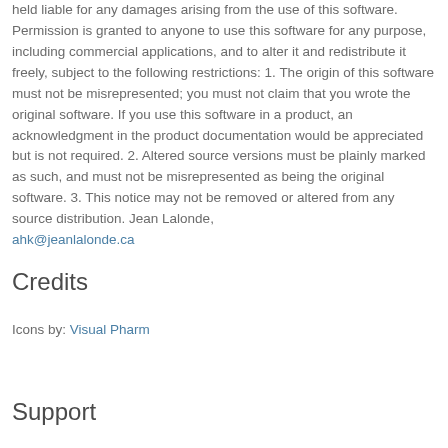held liable for any damages arising from the use of this software. Permission is granted to anyone to use this software for any purpose, including commercial applications, and to alter it and redistribute it freely, subject to the following restrictions: 1. The origin of this software must not be misrepresented; you must not claim that you wrote the original software. If you use this software in a product, an acknowledgment in the product documentation would be appreciated but is not required. 2. Altered source versions must be plainly marked as such, and must not be misrepresented as being the original software. 3. This notice may not be removed or altered from any source distribution. Jean Lalonde, ahk@jeanlalonde.ca
Credits
Icons by: Visual Pharm
Support